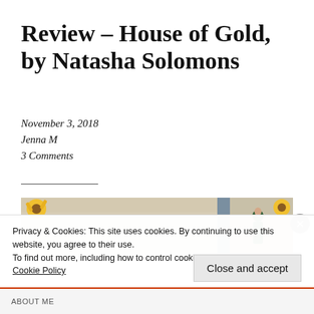Review – House of Gold, by Natasha Solomons
November 3, 2018
Jenna M
3 Comments
[Figure (photo): Photo of an open book with sunflowers and a person in a green dress, split into two panels with a dark divider strip]
Privacy & Cookies: This site uses cookies. By continuing to use this website, you agree to their use.
To find out more, including how to control cookies, see here: Cookie Policy
Close and accept